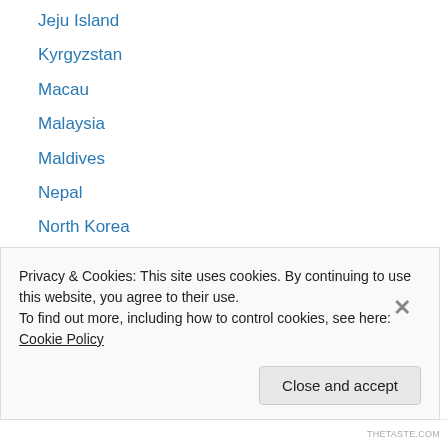Jeju Island
Kyrgyzstan
Macau
Malaysia
Maldives
Nepal
North Korea
Philippines
Singapore
South Korea
Taiwan
Thailand
Vietnam
Privacy & Cookies: This site uses cookies. By continuing to use this website, you agree to their use.
To find out more, including how to control cookies, see here: Cookie Policy
THETASTE.COM